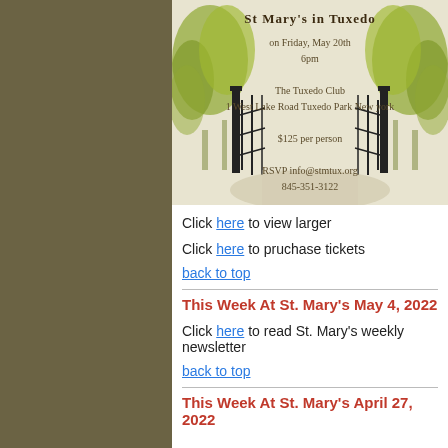[Figure (illustration): Invitation card for St Mary's in Tuxedo event at The Tuxedo Club on Friday May 20th 6pm, $125 per person, RSVP info@stmtux.org 845-351-3122, with illustrated trees and gates]
Click here to view larger
Click here to pruchase tickets
back to top
This Week At St. Mary's May 4, 2022
Click here to read St. Mary's weekly newsletter
back to top
This Week At St. Mary's April 27, 2022